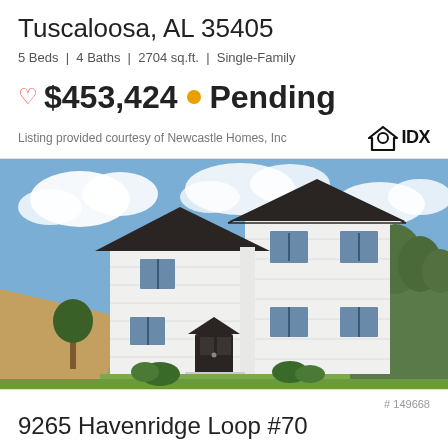Tuscaloosa, AL 35405
5 Beds | 4 Baths | 2704 sq.ft. | Single-Family
$453,424 • Pending
Listing provided courtesy of Newcastle Homes, Inc
[Figure (photo): Exterior photo of a large white two-story single-family home with dark roof, multiple gables, a front walkway, green lawn, landscaping, and a cloudy blue sky background.]
# 149668
9265 Havenridge Loop #70
Tuscaloosa, AL 35405